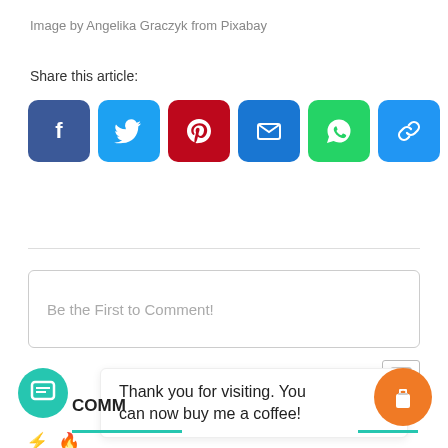Image by Angelika Graczyk from Pixabay
Share this article:
[Figure (infographic): Social share icon buttons: Facebook (blue), Twitter (light blue), Pinterest (red), Email (blue), WhatsApp (green), Link (blue), Print (blue)]
Be the First to Comment!
[Figure (screenshot): Image placeholder icon in top right]
Thank you for visiting. You can now buy me a coffee!
COMM